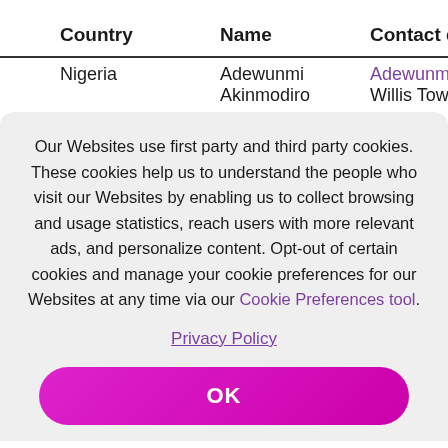| Country | Name | Contact details |
| --- | --- | --- |
| Nigeria | Adewunmi Akinmodiro | Adewunmi.Akinm… Willis Towers Wat… |
Our Websites use first party and third party cookies. These cookies help us to understand the people who visit our Websites by enabling us to collect browsing and usage statistics, reach users with more relevant ads, and personalize content. Opt-out of certain cookies and manage your cookie preferences for our Websites at any time via our Cookie Preferences tool.
Privacy Policy
OK